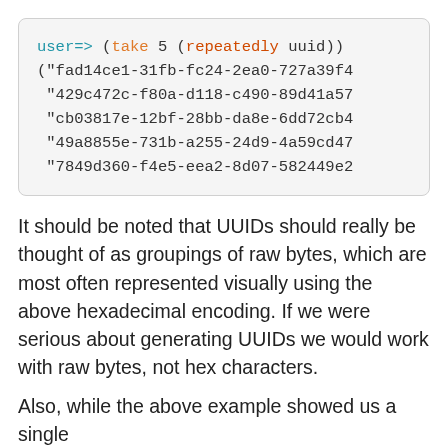[Figure (screenshot): Code block showing Clojure REPL interaction: user=> (take 5 (repeatedly uuid)) followed by a list of 5 UUID strings]
It should be noted that UUIDs should really be thought of as groupings of raw bytes, which are most often represented visually using the above hexadecimal encoding. If we were serious about generating UUIDs we would work with raw bytes, not hex characters.
Also, while the above example showed us a single